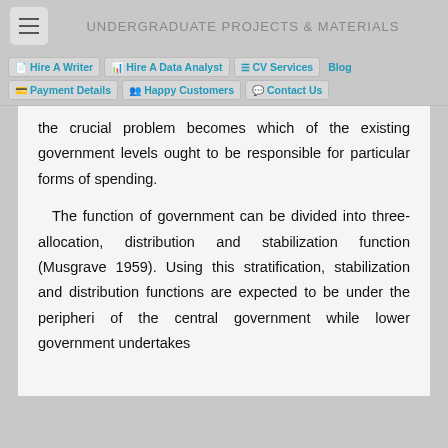UNDERGRADUATE PROJECTS & MATERIALS
Hire A Writer | Hire A Data Analyst | CV Services | Blog | Payment Details | Happy Customers | Contact Us
the crucial problem becomes which of the existing government levels ought to be responsible for particular forms of spending.
The function of government can be divided into three-allocation, distribution and stabilization function (Musgrave 1959). Using this stratification, stabilization and distribution functions are expected to be under the peripheri of the central government while lower government undertakes